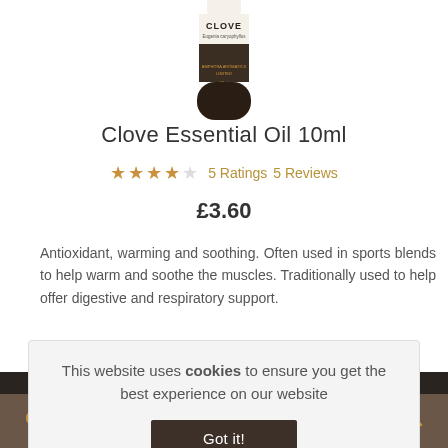[Figure (photo): Partial product image of a dark glass bottle labeled CLOVE essential oil, showing top portion of bottle]
Clove Essential Oil 10ml
★★★★☆ 5 Ratings   5 Reviews
£3.60
Antioxidant, warming and soothing. Often used in sports blends to help warm and soothe the muscles. Traditionally used to help offer digestive and respiratory support.
This website uses cookies to ensure you get the best experience on our website
Got it!